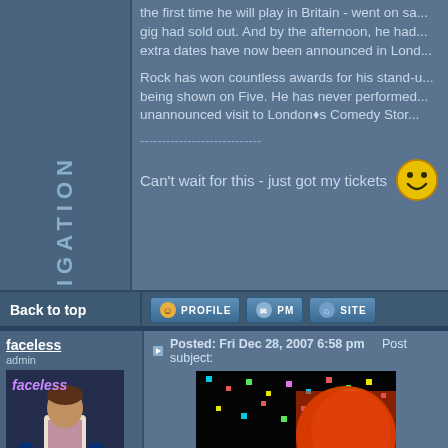NAVIGATION
the first time he will play in Britain - went on sale... gig had sold out. And by the afternoon, he had... extra dates have now been announced in Lond...
Rock has won countless awards for his stand-up... being shown on Five. He has never performed... unannounced visit to London's Comedy Store...
----------------------------
Can't wait for this - just got my tickets 🙂
Back to top
Posted: Fri Dec 28, 2007 6:58 pm    Post subject:
faceless
admin
[Figure (photo): Animated avatar image showing a cartoon character labeled 'faceless' in a dark club scene]
[Figure (photo): Photo of a person with confetti/sparkles against a dark background, appears to be a Chris Rock image]